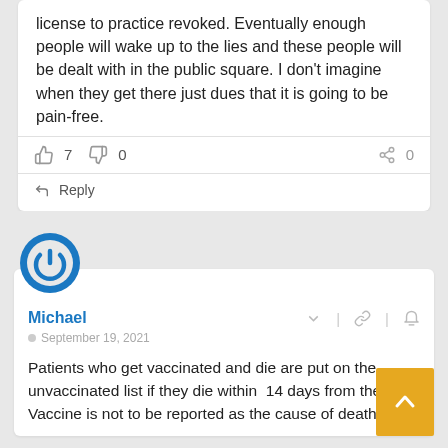license to practice revoked. Eventually enough people will wake up to the lies and these people will be dealt with in the public square. I don't imagine when they get there just dues that it is going to be pain-free.
👍 7  👎 0    🔗 0
↩ Reply
[Figure (logo): Blue circular power/user avatar icon]
Michael
September 19, 2021
Patients who get vaccinated and die are put on the unvaccinated list if they die within  14 days from the The Vaccine is not to be reported as the cause of death.